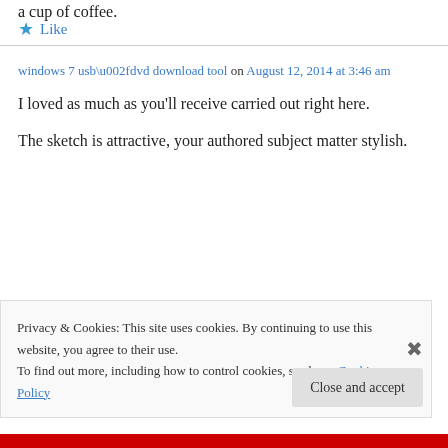a cup of coffee.
★ Like
windows 7 usb\u002fdvd download tool on August 12, 2014 at 3:46 am
I loved as much as you'll receive carried out right here.
The sketch is attractive, your authored subject matter stylish.
Privacy & Cookies: This site uses cookies. By continuing to use this website, you agree to their use.
To find out more, including how to control cookies, see here: Cookie Policy
Close and accept